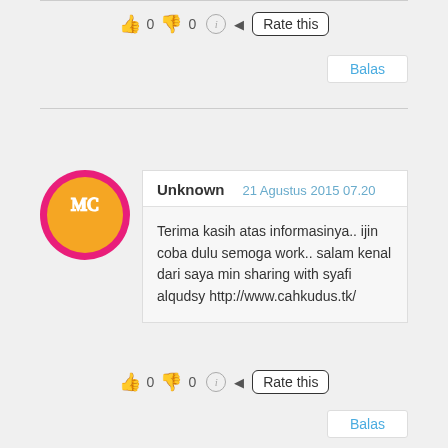[Figure (infographic): Rating row with thumbs up (0), thumbs down (0), info icon, and Rate this button]
Balas
[Figure (illustration): Blogger avatar with orange circle and B icon on pink/red border]
| Unknown | 21 Agustus 2015 07.20 |
| --- | --- |
| Terima kasih atas informasinya.. ijin coba dulu semoga work.. salam kenal dari saya min sharing with syafi alqudsy http://www.cahkudus.tk/ |
[Figure (infographic): Rating row with thumbs up (0), thumbs down (0), info icon, and Rate this button]
Balas